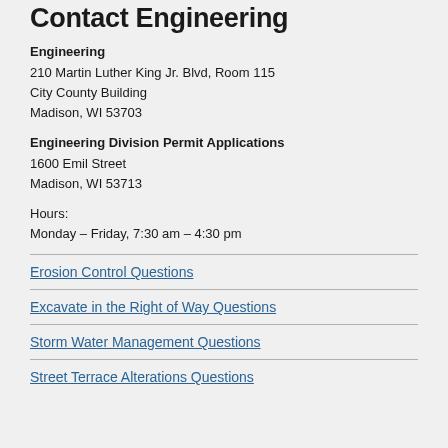Contact Engineering
Engineering
210 Martin Luther King Jr. Blvd, Room 115
City County Building
Madison, WI 53703
Engineering Division Permit Applications
1600 Emil Street
Madison, WI 53713
Hours:
Monday – Friday, 7:30 am – 4:30 pm
Erosion Control Questions
Excavate in the Right of Way Questions
Storm Water Management Questions
Street Terrace Alterations Questions